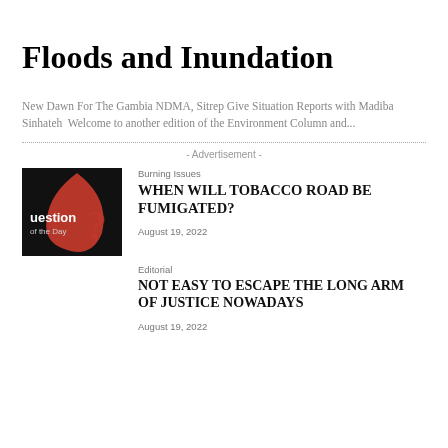Floods and Inundation
New Dawn For The Gambia NDMA, Sitrep Give Situation Reports with Madiba Sinhateh  Welcome to another edition of the Environment Column and...
- Advertisement -
Burning Issues
WHEN WILL TOBACCO ROAD BE FUMIGATED?
August 19, 2022
Editorial
NOT EASY TO ESCAPE THE LONG ARM OF JUSTICE NOWADAYS
August 19, 2022